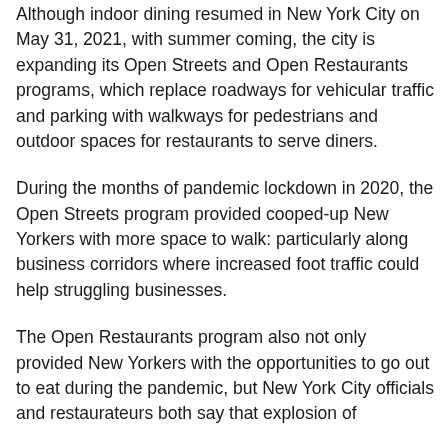Although indoor dining resumed in New York City on May 31, 2021, with summer coming, the city is expanding its Open Streets and Open Restaurants programs, which replace roadways for vehicular traffic and parking with walkways for pedestrians and outdoor spaces for restaurants to serve diners.
During the months of pandemic lockdown in 2020, the Open Streets program provided cooped-up New Yorkers with more space to walk: particularly along business corridors where increased foot traffic could help struggling businesses.
The Open Restaurants program also not only provided New Yorkers with the opportunities to go out to eat during the pandemic, but New York City officials and restaurateurs both say that explosion of